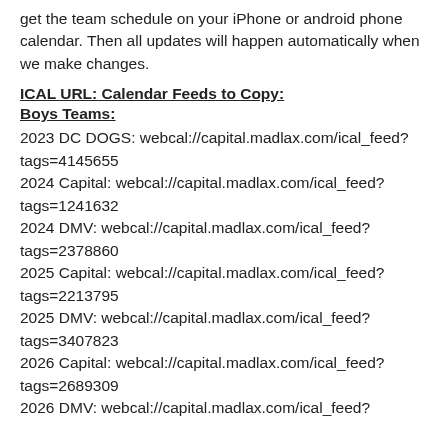get the team schedule on your iPhone or android phone calendar. Then all updates will happen automatically when we make changes.
ICAL URL: Calendar Feeds to Copy:
Boys Teams:
2023 DC DOGS:  webcal://capital.madlax.com/ical_feed?tags=4145655
2024 Capital:  webcal://capital.madlax.com/ical_feed?tags=1241632
2024 DMV:  webcal://capital.madlax.com/ical_feed?tags=2378860
2025 Capital:  webcal://capital.madlax.com/ical_feed?tags=2213795
2025 DMV: webcal://capital.madlax.com/ical_feed?tags=3407823
2026 Capital:  webcal://capital.madlax.com/ical_feed?tags=2689309
2026 DMV: webcal://capital.madlax.com/ical_feed?